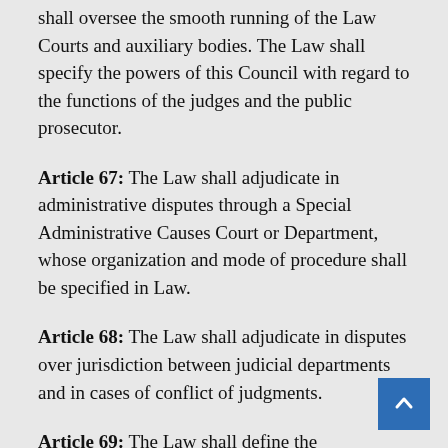shall oversee the smooth running of the Law Courts and auxiliary bodies. The Law shall specify the powers of this Council with regard to the functions of the judges and the public prosecutor.
Article 67: The Law shall adjudicate in administrative disputes through a Special Administrative Causes Court or Department, whose organization and mode of procedure shall be specified in Law.
Article 68: The Law shall adjudicate in disputes over jurisdiction between judicial departments and in cases of conflict of judgments.
Article 69: The Law shall define the competencies of the department which expresses legal opinions to Ministries other Government departments and formulates and revises draft laws, regulations and decisions. The Law shall also specify the mode of representation of the State and the